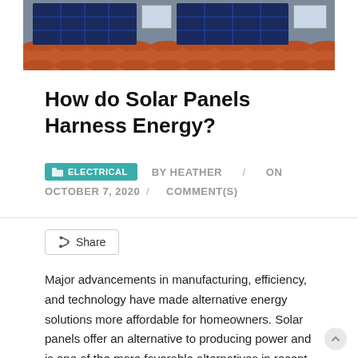[Figure (photo): Solar panels installed on a terracotta tiled roof, with multiple blue photovoltaic panels visible along with skylight windows]
How do Solar Panels Harness Energy?
ELECTRICAL  BY HEATHER / ON OCTOBER 7, 2020 / COMMENT(S)
Share
Major advancements in manufacturing, efficiency, and technology have made alternative energy solutions more affordable for homeowners. Solar panels offer an alternative to producing power and is one of the more favorable alternatives in recent years.